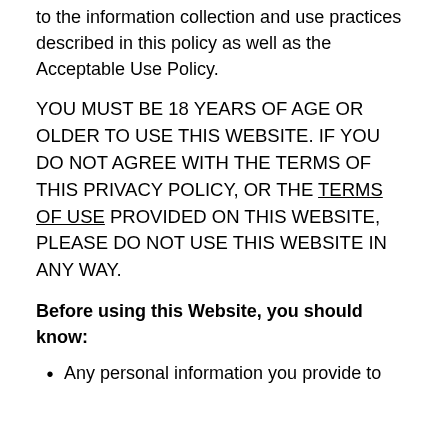to the information collection and use practices described in this policy as well as the Acceptable Use Policy.
YOU MUST BE 18 YEARS OF AGE OR OLDER TO USE THIS WEBSITE. IF YOU DO NOT AGREE WITH THE TERMS OF THIS PRIVACY POLICY, OR THE TERMS OF USE PROVIDED ON THIS WEBSITE, PLEASE DO NOT USE THIS WEBSITE IN ANY WAY.
Before using this Website, you should know:
Any personal information you provide to